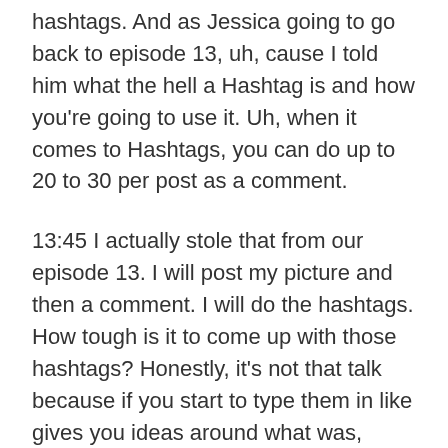hashtags. And as Jessica going to go back to episode 13, uh, cause I told him what the hell a Hashtag is and how you're going to use it. Uh, when it comes to Hashtags, you can do up to 20 to 30 per post as a comment.
13:45 I actually stole that from our episode 13. I will post my picture and then a comment. I will do the hashtags. How tough is it to come up with those hashtags? Honestly, it's not that talk because if you start to type them in like gives you ideas around what was, we're finding keywords you like, start typing on it and you'll find how popular it is and then you can determine like how specific do I really want to go? So my thing is just getting creative. Do just do a search, a Hashtag, just just start typing a keyword and see what